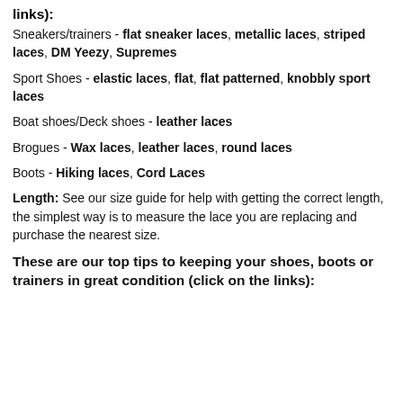links):
Sneakers/trainers - flat sneaker laces, metallic laces, striped laces, DM Yeezy, Supremes
Sport Shoes - elastic laces, flat, flat patterned, knobbly sport laces
Boat shoes/Deck shoes - leather laces
Brogues - Wax laces, leather laces, round laces
Boots - Hiking laces, Cord Laces
Length: See our size guide for help with getting the correct length, the simplest way is to measure the lace you are replacing and purchase the nearest size.
These are our top tips to keeping your shoes, boots or trainers in great condition (click on the links):